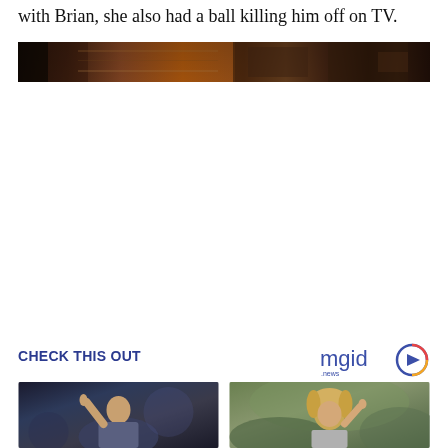with Brian, she also had a ball killing him off on TV.
[Figure (photo): Horizontal banner photo showing wooden interior elements, dark tones]
CHECK THIS OUT
[Figure (logo): mgid logo with play button icon and '.news' label]
[Figure (photo): Person raising finger, dark background, left thumbnail]
[Figure (photo): Blonde woman looking sideways, outdoor background, right thumbnail]